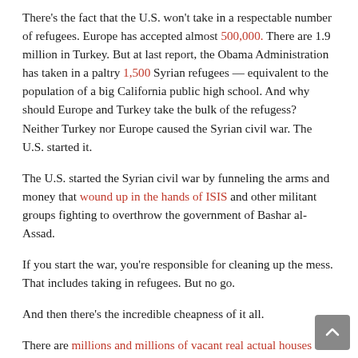There's the fact that the U.S. won't take in a respectable number of refugees. Europe has accepted almost 500,000. There are 1.9 million in Turkey. But at last report, the Obama Administration has taken in a paltry 1,500 Syrian refugees — equivalent to the population of a big California public high school. And why should Europe and Turkey take the bulk of the refugess? Neither Turkey nor Europe caused the Syrian civil war. The U.S. started it.
The U.S. started the Syrian civil war by funneling the arms and money that wound up in the hands of ISIS and other militant groups fighting to overthrow the government of Bashar al-Assad.
If you start the war, you're responsible for cleaning up the mess. That includes taking in refugees. But no go.
And then there's the incredible cheapness of it all.
There are millions and millions of vacant real actual houses all over the United States — the country that, you know, created the situation that caused so many Syrians to become refugess in the first place. Why should Syrian refugees have to make do with a tent, mat